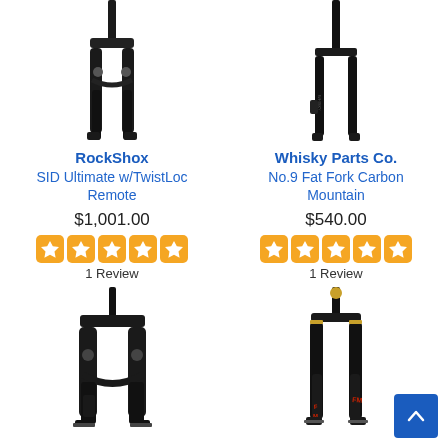[Figure (photo): RockShox SID Ultimate w/TwistLoc Remote bicycle fork, black, top-left product image]
RockShox
SID Ultimate w/TwistLoc Remote
$1,001.00
[Figure (infographic): 5 orange star rating boxes]
1 Review
[Figure (photo): Whisky Parts Co. No.9 Fat Fork Carbon Mountain bicycle fork, black, top-right product image]
Whisky Parts Co.
No.9 Fat Fork Carbon Mountain
$540.00
[Figure (infographic): 5 orange star rating boxes]
1 Review
[Figure (photo): Black mountain bike fork, bottom-left product image]
[Figure (photo): Black mountain bike fork with red accents, bottom-right product image]